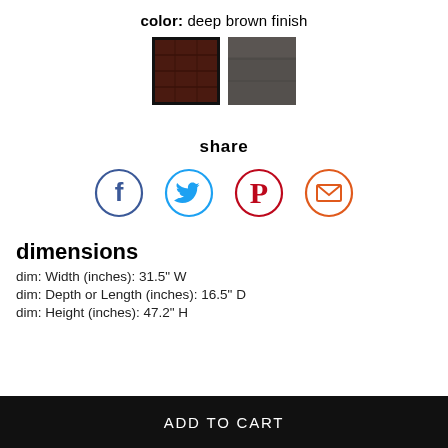color: deep brown finish
[Figure (other): Two color swatches: deep brown finish (selected, with border) and dark gray/charcoal finish]
share
[Figure (infographic): Four social sharing icons in circles: Facebook (dark blue), Twitter (light blue), Pinterest (red), Email (orange-red)]
dimensions
dim: Width (inches): 31.5" W
dim: Depth or Length (inches): 16.5" D
dim: Height (inches): 47.2" H
ADD TO CART